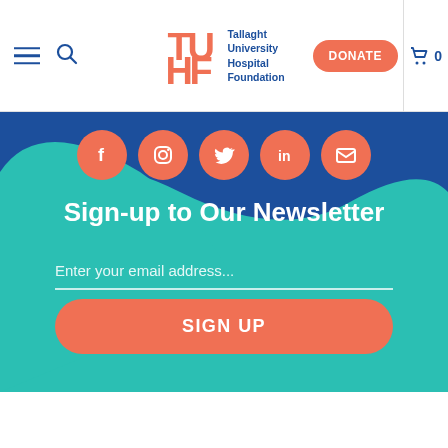[Figure (screenshot): Tallaght University Hospital Foundation website header with hamburger menu, search icon, TU/HF logo, Donate button, and cart icon]
[Figure (infographic): Social media icons row: Facebook, Instagram, Twitter, LinkedIn, Email — salmon/coral circles on blue background]
Sign-up to Our Newsletter
Enter your email address...
SIGN UP